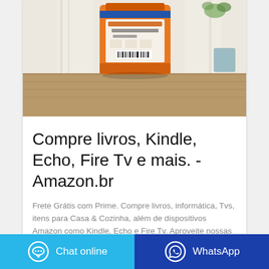[Figure (photo): Product photo of an orange bag (appears to be a cleaning/laundry product) on a wooden table against white curtain background]
Compre livros, Kindle, Echo, Fire Tv e mais. - Amazon.br
Frete Grátis com Prime. Compre livros, informática, Tvs, itens para Casa & Cozinha, além de dispositivos Amazon como Kindle, Echo e Fire Tv. Aproveite nossas ofertas para comprar produtos online, com ótimos preços.
Chat online
WhatsApp